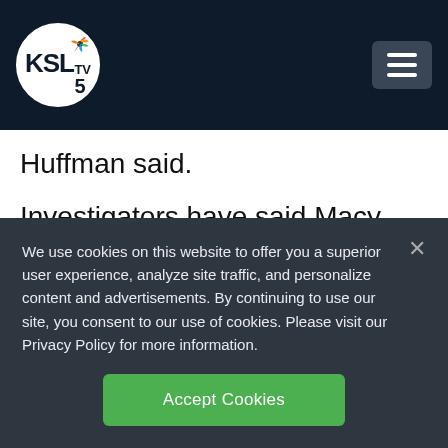KSL TV 5
Huffman said.
Investigators have said Macy, 69, was with her when admissions consultant Rick Singer explained how he could arrange for the cheating because he “controlled” a test
We use cookies on this website to offer you a superior user experience, analyze site traffic, and personalize content and advertisements. By continuing to use our site, you consent to our use of cookies. Please visit our Privacy Policy for more information.
Accept Cookies